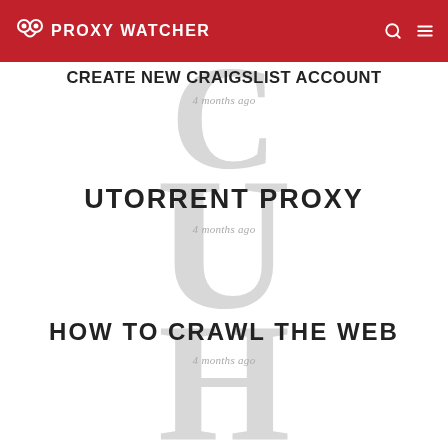PROXYWATCHER
CREATE NEW CRAIGSLIST ACCOUNT
4 months ago
UTORRENT PROXY
4 months ago
HOW TO CRAWL THE WEB
4 months ago